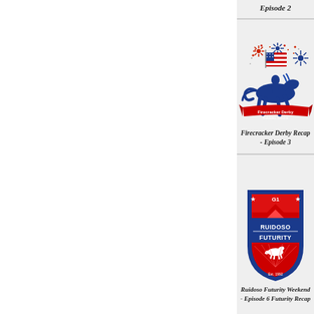Episode 2
[Figure (illustration): Firecracker Derby logo: blue horse with rider, American flag, fireworks, red ribbon banner reading 'Firecracker Derby']
Firecracker Derby Recap - Episode 3
[Figure (logo): Ruidoso Futurity shield logo: red and blue shield with 'G1 Ruidoso Futurity' text, horse silhouette, mountain graphic, Est. 1992]
Ruidoso Futurity Weekend - Episode 6 Futurity Recap